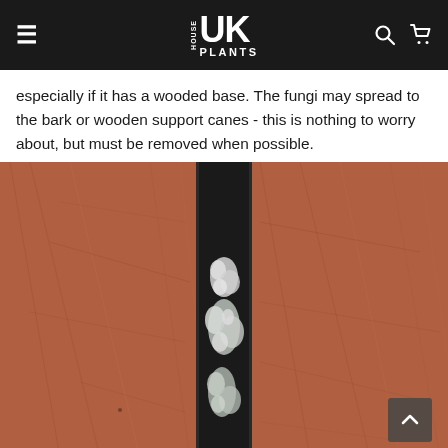HOUSE UK PLANTS
especially if it has a wooded base. The fungi may spread to the bark or wooden support canes - this is nothing to worry about, but must be removed when possible.
[Figure (photo): Close-up photo of a black bamboo or wooden support cane laid on a reddish-brown wooden surface, showing white fungal/mold growth on the cane.]